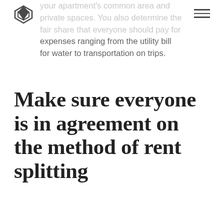your apartment's common area and private spaces. You also determine the fair share that everyone should pay for expenses ranging from the utility bill for water to transportation on trips.
Make sure everyone is in agreement on the method of rent splitting